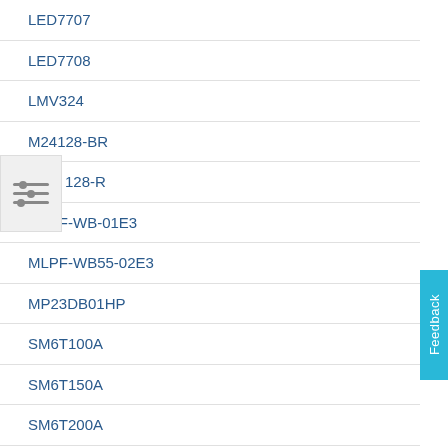LED7707
LED7708
LMV324
M24128-BR
128-R
MLPF-WB-01E3
MLPF-WB55-02E3
MP23DB01HP
SM6T100A
SM6T150A
SM6T200A
SMA4F12A